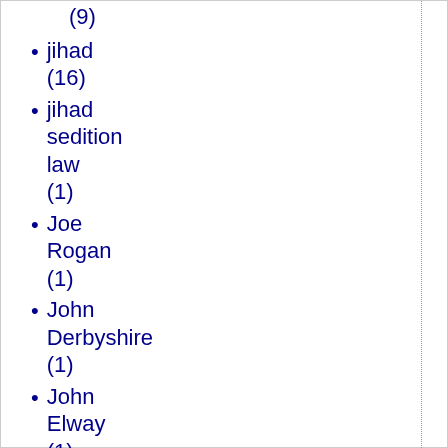(9)
jihad (16)
jihad sedition law (1)
Joe Rogan (1)
John Derbyshire (1)
John Elway (1)
John Henry Newman (1)
John Holbo (1)
John Howard (1)